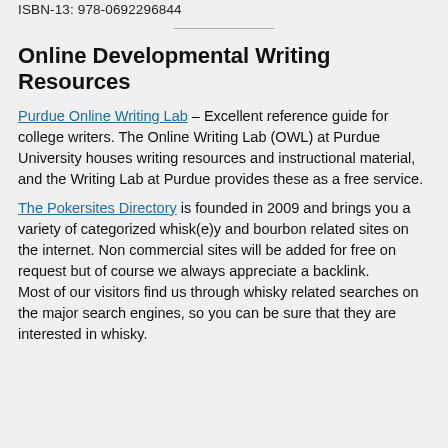ISBN-13: 978-0692296844
Online Developmental Writing Resources
Purdue Online Writing Lab – Excellent reference guide for college writers. The Online Writing Lab (OWL) at Purdue University houses writing resources and instructional material, and the Writing Lab at Purdue provides these as a free service.
The Pokersites Directory is founded in 2009 and brings you a variety of categorized whisk(e)y and bourbon related sites on the internet. Non commercial sites will be added for free on request but of course we always appreciate a backlink. Most of our visitors find us through whisky related searches on the major search engines, so you can be sure that they are interested in whisky.